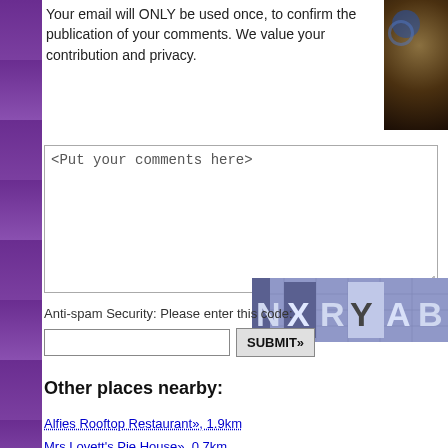Your email will ONLY be used once, to confirm the publication of your comments. We value your contribution and privacy.
[Figure (screenshot): Comment text area with placeholder text '<Put your comments here>']
[Figure (screenshot): CAPTCHA security image showing letters N X R Y A B in stylized font on blue/grey background]
Anti-spam Security: Please enter this code:
[input field] SUBMIT»
Other places nearby:
Alfies Rooftop Restaurant», 1.9km
Mrs Lovett's Pie House», 0.7km
The Aubergine Robbery Mystery», 2.8km